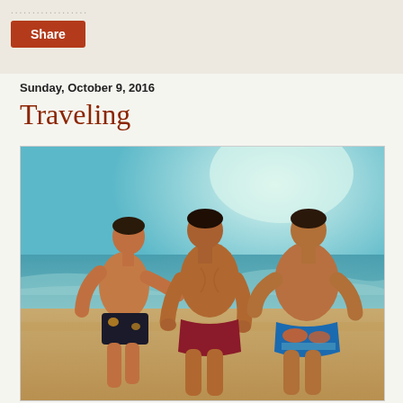.................... Share
Sunday, October 9, 2016
Traveling
[Figure (photo): Three muscular men in swim briefs standing on a beach with ocean waves behind them and bright sky above.]